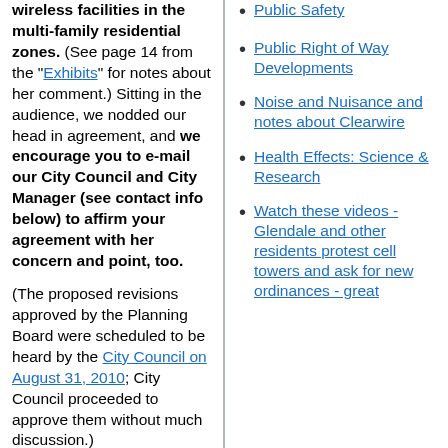wireless facilities in the multi-family residential zones. (See page 14 from the "Exhibits" for notes about her comment.) Sitting in the audience, we nodded our head in agreement, and we encourage you to e-mail our City Council and City Manager (see contact info below) to affirm your agreement with her concern and point, too.
(The proposed revisions approved by the Planning Board were scheduled to be heard by the City Council on August 31, 2010; City Council proceeded to approve them without much discussion.)
Public Safety
Public Right of Way Developments
Noise and Nuisance and notes about Clearwire
Health Effects: Science & Research
Watch these videos - Glendale and other residents protest cell towers and ask for new ordinances - great